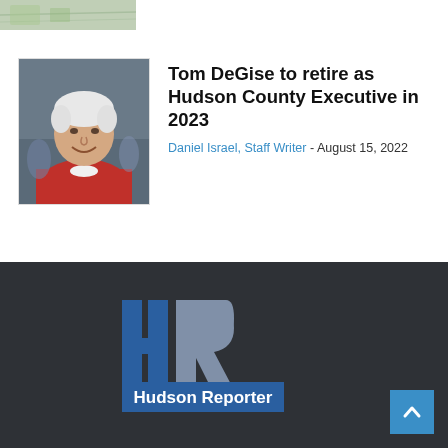[Figure (photo): Partial top strip showing a map or aerial image]
[Figure (photo): Photo of an older white-haired man in a red shirt smiling, Tom DeGise]
Tom DeGise to retire as Hudson County Executive in 2023
Daniel Israel, Staff Writer - August 15, 2022
[Figure (logo): Hudson Reporter logo with HR letters on dark background]